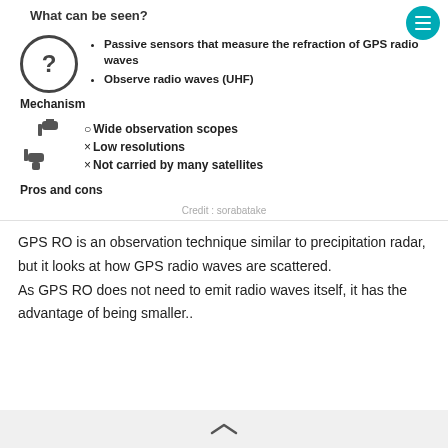What can be seen?
Passive sensors that measure the refraction of GPS radio waves
Observe radio waves (UHF)
Mechanism
○Wide observation scopes
×Low resolutions
×Not carried by many satellites
Pros and cons
Credit : sorabatake
GPS RO is an observation technique similar to precipitation radar, but it looks at how GPS radio waves are scattered. As GPS RO does not need to emit radio waves itself, it has the advantage of being smaller..